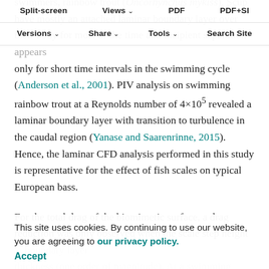Split-screen  Views  PDF  PDF+SI  Versions  Share  Tools  Search Site
swimmers, rainbow trout (Oncorhynchus mykiss). Scup have mostly an attached laminar boundary layer over their body for most of the time and incipient separation appears only for short time intervals in the swimming cycle (Anderson et al., 2001). PIV analysis on swimming rainbow trout at a Reynolds number of 4×10^5 revealed a laminar boundary layer with transition to turbulence in the caudal region (Yanase and Saarenrinne, 2015). Hence, the laminar CFD analysis performed in this study is representative for the effect of fish scales on typical European bass.
For the total drag of the biomimetic surface, a drag reduction was only observed when the scale step height ... boundary layer thickness (one order of magnitude). At a swimming speed of 1.2 m s^-1 and for a fish length of 300 mm, the boundary
This site uses cookies. By continuing to use our website, you are agreeing to our privacy policy.
Accept